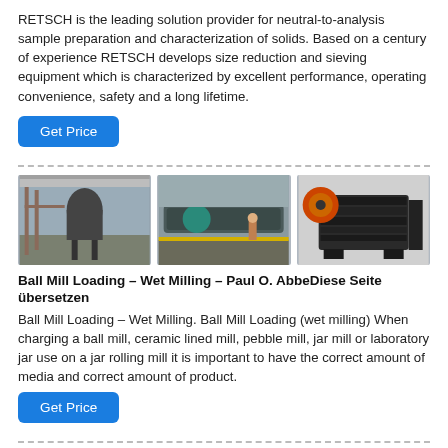RETSCH is the leading solution provider for neutral-to-analysis sample preparation and characterization of solids. Based on a century of experience RETSCH develops size reduction and sieving equipment which is characterized by excellent performance, operating convenience, safety and a long lifetime.
[Figure (other): Blue 'Get Price' button]
[Figure (photo): Three industrial equipment photos: ball mill setup in factory, conveyor/sieving equipment, and jaw crusher machine]
Ball Mill Loading – Wet Milling – Paul O. AbbeDiese Seite übersetzen
Ball Mill Loading – Wet Milling. Ball Mill Loading (wet milling) When charging a ball mill, ceramic lined mill, pebble mill, jar mill or laboratory jar use on a jar rolling mill it is important to have the correct amount of media and correct amount of product.
[Figure (other): Blue 'Get Price' button]
[Figure (photo): Partial view of more industrial equipment photos at bottom of page]